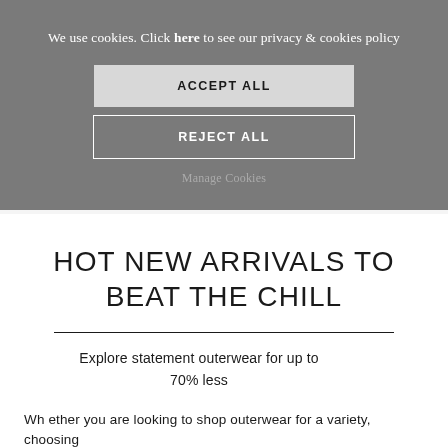We use cookies. Click here to see our privacy & cookies policy
ACCEPT ALL
REJECT ALL
Manage Cookies
HOT NEW ARRIVALS TO BEAT THE CHILL
Explore statement outerwear for up to 70% less
Whether you're looking to shop outerwear for a variety, choosing